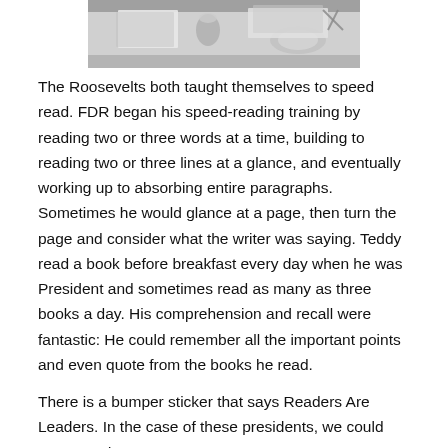[Figure (photo): Black and white photograph showing a table with papers, glasses, and dishes on it, viewed from above/angle.]
The Roosevelts both taught themselves to speed read. FDR began his speed-reading training by reading two or three words at a time, building to reading two or three lines at a glance, and eventually working up to absorbing entire paragraphs.  Sometimes he would glance at a page, then turn the page and consider what the writer was saying. Teddy read a book before breakfast every day when he was President and sometimes read as many as three books a day.  His comprehension and recall were fantastic:  He could remember all the important points and even quote from the books he read.
There is a bumper sticker that says Readers Are Leaders. In the case of these presidents, we could say Speed